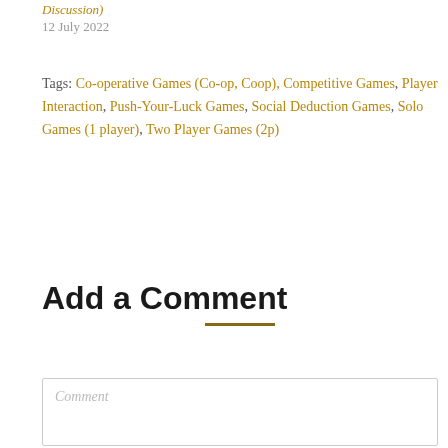Discussion)
12 July 2022
Tags: Co-operative Games (Co-op, Coop), Competitive Games, Player Interaction, Push-Your-Luck Games, Social Deduction Games, Solo Games (1 player), Two Player Games (2p)
Add a Comment
Comment